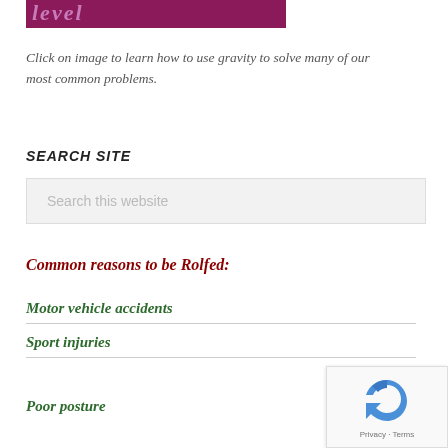[Figure (other): Partial website banner/logo with dark pink/magenta background and stylized italic text (partially visible), cropped at top of page]
Click on image to learn how to use gravity to solve many of our most common problems.
SEARCH SITE
Search this website
Common reasons to be Rolfed:
Motor vehicle accidents
Sport injuries
Poor posture